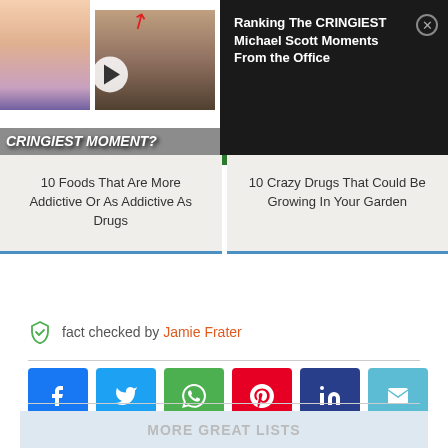[Figure (screenshot): Thumbnail image left: woman covering face, man crying, play button overlay, text 'CRINGIEST MOMENT?' at bottom]
[Figure (screenshot): Ad overlay top right: dark background with text 'Ranking The CRINGIEST Michael Scott Moments From the Office' and close button]
10 Foods That Are More Addictive Or As Addictive As Drugs
10 Crazy Drugs That Could Be Growing In Your Garden
fact checked by Jamie Frater
[Figure (infographic): Social share buttons: Facebook, Twitter, WhatsApp, Pinterest, LinkedIn, Email]
MORE GREAT LISTS